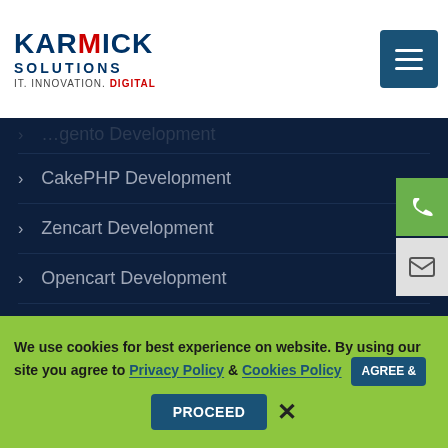[Figure (logo): Karmick Solutions logo with text IT. INNOVATION. DIGITAL and hamburger menu icon]
CakePHP Development
Zencart Development
Opencart Development
Magento Development
Prestashop Development
Xamarin Application Development
iPhone Application Development
Android application Development
We use cookies for best experience on website. By using our site you agree to Privacy Policy & Cookies Policy AGREE & PROCEED